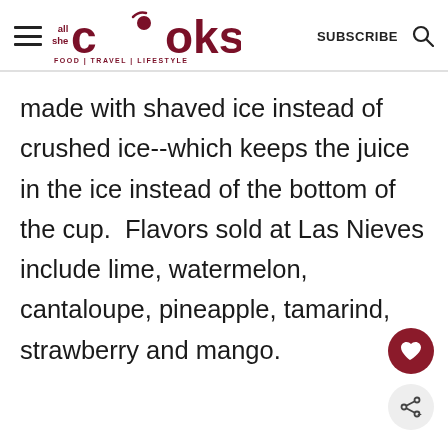all she COOKS — FOOD | TRAVEL | LIFESTYLE — SUBSCRIBE
made with shaved ice instead of crushed ice--which keeps the juice in the ice instead of the bottom of the cup.  Flavors sold at Las Nieves include lime, watermelon, cantaloupe, pineapple, tamarind, strawberry and mango.